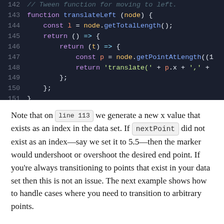[Figure (screenshot): Code editor screenshot showing JavaScript function translateLeft lines 142-151 on dark background]
Note that on line 113 we generate a new x value that exists as an index in the data set. If nextPoint did not exist as an index—say we set it to 5.5—then the marker would undershoot or overshoot the desired end point. If you're always transitioning to points that exist in your data set then this is not an issue. The next example shows how to handle cases where you need to transition to arbitrary points.